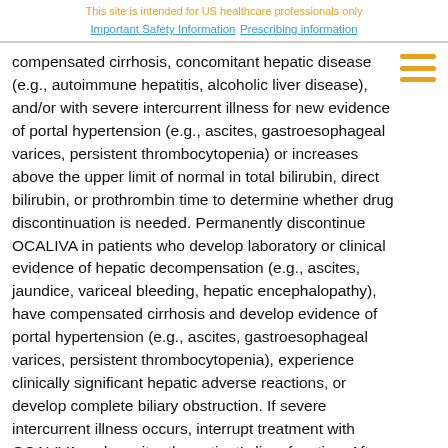This site is intended for US healthcare professionals only
Important Safety Information    Prescribing information
compensated cirrhosis, concomitant hepatic disease (e.g., autoimmune hepatitis, alcoholic liver disease), and/or with severe intercurrent illness for new evidence of portal hypertension (e.g., ascites, gastroesophageal varices, persistent thrombocytopenia) or increases above the upper limit of normal in total bilirubin, direct bilirubin, or prothrombin time to determine whether drug discontinuation is needed. Permanently discontinue OCALIVA in patients who develop laboratory or clinical evidence of hepatic decompensation (e.g., ascites, jaundice, variceal bleeding, hepatic encephalopathy), have compensated cirrhosis and develop evidence of portal hypertension (e.g., ascites, gastroesophageal varices, persistent thrombocytopenia), experience clinically significant hepatic adverse reactions, or develop complete biliary obstruction. If severe intercurrent illness occurs, interrupt treatment with OCALIVA and monitor the patient’s liver function. After resolution of the intercurrent illness, consider the potential risks and benefits of restarting OCALIVA